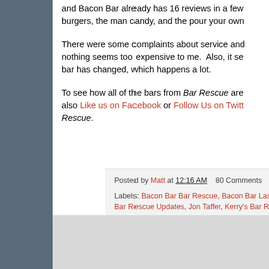and Bacon Bar already has 16 reviews in a few burgers, the man candy, and the pour your own
There were some complaints about service and nothing seems too expensive to me. Also, it se bar has changed, which happens a lot.
To see how all of the bars from Bar Rescue are also Like us on Facebook or Follow Us on Twitt Rescue.
Posted by Matt at 12:16 AM   80 Comments
Labels: Bacon Bar Bar Rescue, Bacon Bar Las Vegas NY Bar Rescue Updates, Jon Taffer, Kerry's Bar Rescue